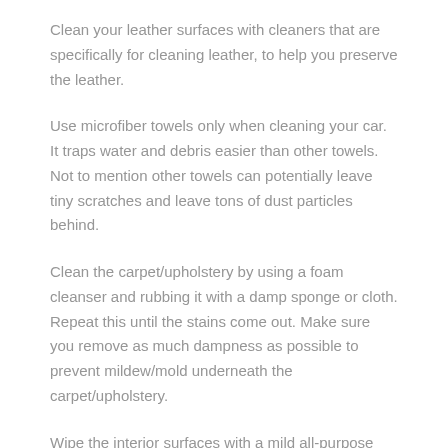Clean your leather surfaces with cleaners that are specifically for cleaning leather, to help you preserve the leather.
Use microfiber towels only when cleaning your car. It traps water and debris easier than other towels. Not to mention other towels can potentially leave tiny scratches and leave tons of dust particles behind.
Clean the carpet/upholstery by using a foam cleanser and rubbing it with a damp sponge or cloth. Repeat this until the stains come out. Make sure you remove as much dampness as possible to prevent mildew/mold underneath the carpet/upholstery.
Wipe the interior surfaces with a mild all-purpose cleaner.